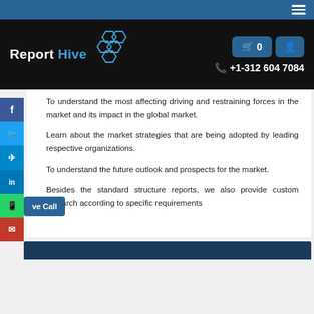Report Hive | +1-312 604 7084
To understand the most affecting driving and restraining forces in the market and its impact in the global market.
Learn about the market strategies that are being adopted by leading respective organizations.
To understand the future outlook and prospects for the market.
Besides the standard structure reports, we also provide custom research according to specific requirements